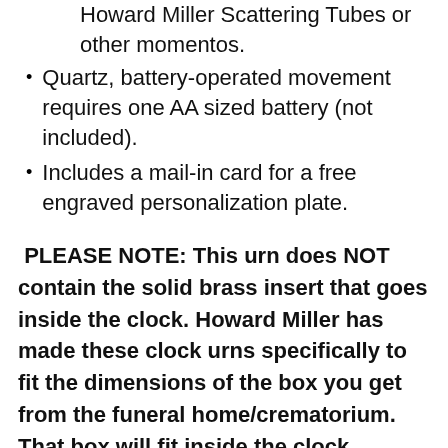Howard Miller Scattering Tubes or other momentos.
Quartz, battery-operated movement requires one AA sized battery (not included).
Includes a mail-in card for a free engraved personalization plate.
PLEASE NOTE: This urn does NOT contain the solid brass insert that goes inside the clock. Howard Miller has made these clock urns specifically to fit the dimensions of the box you get from the funeral home/crematorium. That box will fit inside the clock without an insert and so, you do